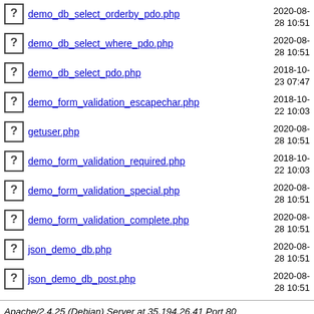demo_db_select_orderby_pdo.php  2020-08-28 10:51
demo_db_select_where_pdo.php  2020-08-28 10:51
demo_db_select_pdo.php  2018-10-23 07:47
demo_form_validation_escapechar.php  2018-10-22 10:03
getuser.php  2020-08-28 10:51
demo_form_validation_required.php  2018-10-22 10:03
demo_form_validation_special.php  2020-08-28 10:51
demo_form_validation_complete.php  2020-08-28 10:51
json_demo_db.php  2020-08-28 10:51
json_demo_db_post.php  2020-08-28 10:51
Apache/2.4.25 (Debian) Server at 35.194.26.41 Port 80